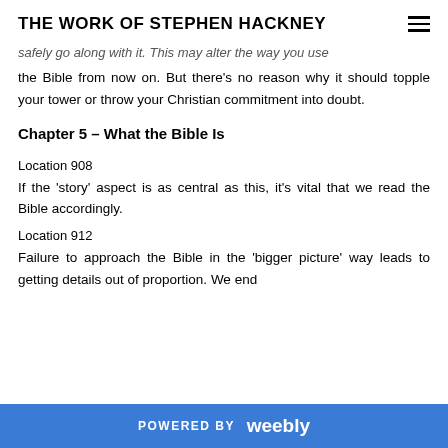THE WORK OF STEPHEN HACKNEY
safely go along with it. This may alter the way you use the Bible from now on. But there's no reason why it should topple your tower or throw your Christian commitment into doubt.
Chapter 5 – What the Bible Is
Location 908
If the 'story' aspect is as central as this, it's vital that we read the Bible accordingly.
Location 912
Failure to approach the Bible in the 'bigger picture' way leads to getting details out of proportion. We end
POWERED BY weebly